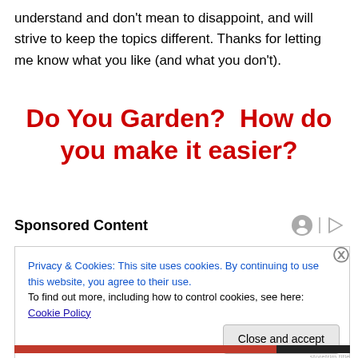understand and don't mean to disappoint, and will strive to keep the topics different. Thanks for letting me know what you like (and what you don't).
Do You Garden?  How do you make it easier?
Sponsored Content
Privacy & Cookies: This site uses cookies. By continuing to use this website, you agree to their use.
To find out more, including how to control cookies, see here: Cookie Policy
Close and accept